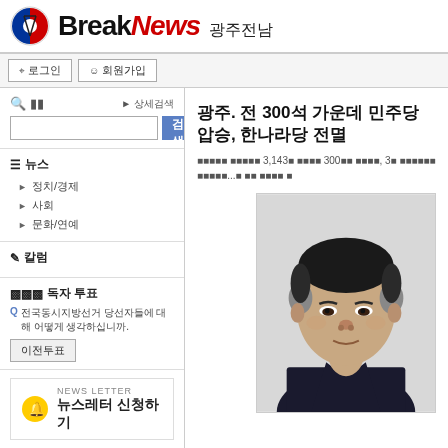BreakNews 광주전남
로그인  회원가입
상세검색 검색
뉴스
정치/경제
사회
문화/연예
칼럼
독자 투표
Q 전국동시지방선거 당선자들에 대해 어떻게 생각하십니까. 이전투표
NEWS LETTER 뉴스레터 신청하기
광주. 전 300석 가운데 민주당 압승, 한나라당 전멸
■■■■■ ■■■■■ 3,143■ ■■■■ 300■■ ■■■■, 3■ ■■■■■■ ■■■■■...■ ■■ ■■■■ ■
[Figure (photo): Portrait photo of a Korean man in a suit, dark hair, grey temples, cropped to head and shoulders against light grey background]